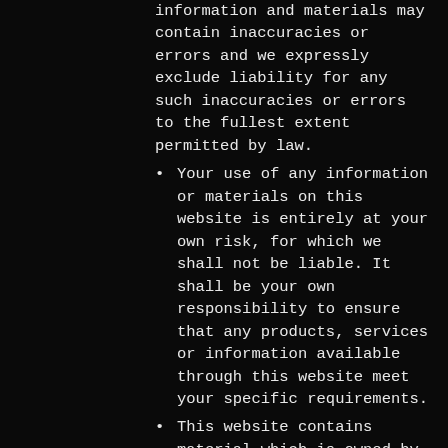information and materials may contain inaccuracies or errors and we expressly exclude liability for any such inaccuracies or errors to the fullest extent permitted by law.
Your use of any information or materials on this website is entirely at your own risk, for which we shall not be liable. It shall be your own responsibility to ensure that any products, services or information available through this website meet your specific requirements.
This website contains material which is owned by or licensed to us. This material includes, but is not limited to, the design, layout, look, appearance and graphics. Reproduction is prohibited other than in accordance with the copyright notice, which forms part of these